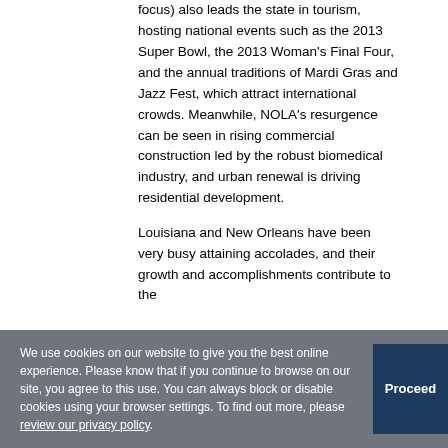focus) also leads the state in tourism, hosting national events such as the 2013 Super Bowl, the 2013 Woman's Final Four, and the annual traditions of Mardi Gras and Jazz Fest, which attract international crowds. Meanwhile, NOLA's resurgence can be seen in rising commercial construction led by the robust biomedical industry, and urban renewal is driving residential development.
Louisiana and New Orleans have been very busy attaining accolades, and their growth and accomplishments contribute to the
We use cookies on our website to give you the best online experience. Please know that if you continue to browse on our site, you agree to this use. You can always block or disable cookies using your browser settings. To find out more, please review our privacy policy.